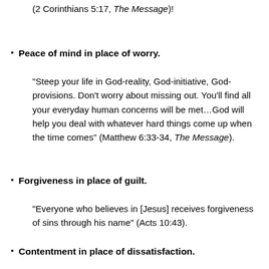(2 Corinthians 5:17, The Message)!
Peace of mind in place of worry.
“Steep your life in God-reality, God-initiative, God-provisions. Don’t worry about missing out. You’ll find all your everyday human concerns will be met…God will help you deal with whatever hard things come up when the time comes” (Matthew 6:33-34, The Message).
Forgiveness in place of guilt.
“Everyone who believes in [Jesus] receives forgiveness of sins through his name” (Acts 10:43).
Contentment in place of dissatisfaction.